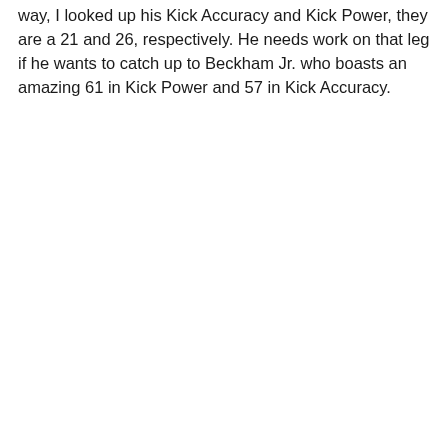way, I looked up his Kick Accuracy and Kick Power, they are a 21 and 26, respectively. He needs work on that leg if he wants to catch up to Beckham Jr. who boasts an amazing 61 in Kick Power and 57 in Kick Accuracy.